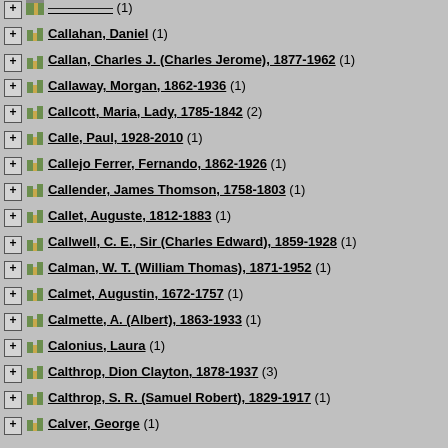Callahan, Daniel (1)
Callan, Charles J. (Charles Jerome), 1877-1962 (1)
Callaway, Morgan, 1862-1936 (1)
Callcott, Maria, Lady, 1785-1842 (2)
Calle, Paul, 1928-2010 (1)
Callejo Ferrer, Fernando, 1862-1926 (1)
Callender, James Thomson, 1758-1803 (1)
Callet, Auguste, 1812-1883 (1)
Callwell, C. E., Sir (Charles Edward), 1859-1928 (1)
Calman, W. T. (William Thomas), 1871-1952 (1)
Calmet, Augustin, 1672-1757 (1)
Calmette, A. (Albert), 1863-1933 (1)
Calonius, Laura (1)
Calthrop, Dion Clayton, 1878-1937 (3)
Calthrop, S. R. (Samuel Robert), 1829-1917 (1)
Calver, George (1)